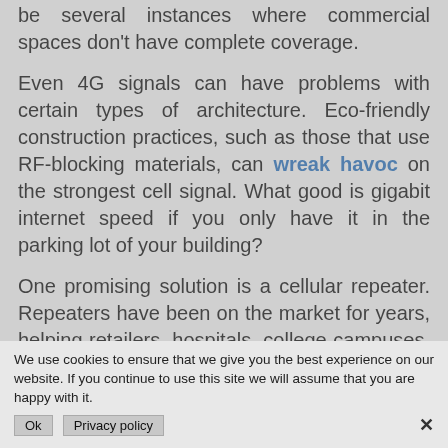be several instances where commercial spaces don't have complete coverage.
Even 4G signals can have problems with certain types of architecture. Eco-friendly construction practices, such as those that use RF-blocking materials, can wreak havoc on the strongest cell signal. What good is gigabit internet speed if you only have it in the parking lot of your building?
One promising solution is a cellular repeater. Repeaters have been on the market for years, helping retailers, hospitals, college campuses, and other facilities improve signal strength on their campuses and in their offices. Given the unique challenges of 5G, repeaters will prove to be an integral part of deployment, helping bring 5G network signals to cellular devices indoors. Where
We use cookies to ensure that we give you the best experience on our website. If you continue to use this site we will assume that you are happy with it.